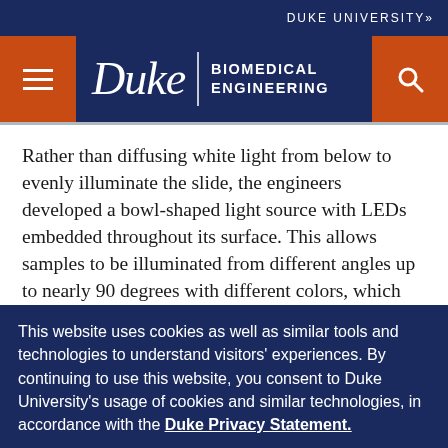DUKE UNIVERSITY»
[Figure (logo): Duke Biomedical Engineering navigation header with hamburger menu, Duke wordmark, BIOMEDICAL ENGINEERING department name, and search icon on dark navy background with orange accent buttons]
Rather than diffusing white light from below to evenly illuminate the slide, the engineers developed a bowl-shaped light source with LEDs embedded throughout its surface. This allows samples to be illuminated from different angles up to nearly 90 degrees with different colors, which essentially casts shadows and highlights different features of the sample depending on the pattern of LEDs used.
This website uses cookies as well as similar tools and technologies to understand visitors' experiences. By continuing to use this website, you consent to Duke University's usage of cookies and similar technologies, in accordance with the Duke Privacy Statement.